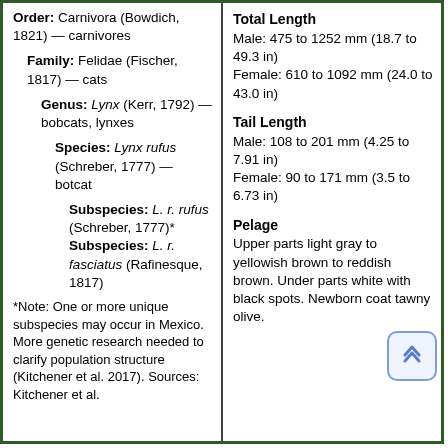Order: Carnivora (Bowdich, 1821) — carnivores
Family: Felidae (Fischer, 1817) — cats
Genus: Lynx (Kerr, 1792) — bobcats, lynxes
Species: Lynx rufus (Schreber, 1777) — botcat
Subspecies: L. r. rufus (Schreber, 1777)*
Subspecies: L. r. fasciatus (Rafinesque, 1817)
*Note: One or more unique subspecies may occur in Mexico. More genetic research needed to clarify population structure (Kitchener et al. 2017). Sources: Kitchener et al.
Total Length
Male: 475 to 1252 mm (18.7 to 49.3 in)
Female: 610 to 1092 mm (24.0 to 43.0 in)
Tail Length
Male: 108 to 201 mm (4.25 to 7.91 in)
Female: 90 to 171 mm (3.5 to 6.73 in)
Pelage
Upper parts light gray to yellowish brown to reddish brown. Under parts white with black spots. Newborn coat tawny olive.